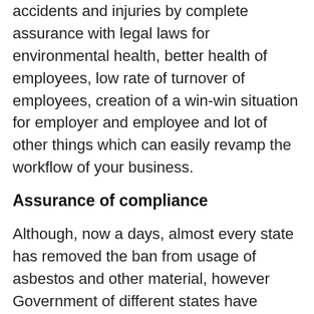accidents and injuries by complete assurance with legal laws for environmental health, better health of employees, low rate of turnover of employees, creation of a win-win situation for employer and employee and lot of other things which can easily revamp the workflow of your business.
Assurance of compliance
Although, now a days, almost every state has removed the ban from usage of asbestos and other material, however Government of different states have imposed strenuous regulations with which every company/corporate entity has to assure compliance. For this purpose, one should have to brace an idea of recruiting licensed asbestos